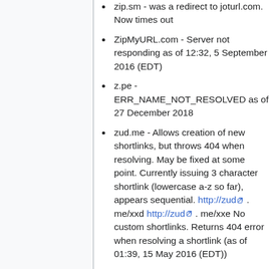zip.sm - was a redirect to joturl.com. Now times out
ZipMyURL.com - Server not responding as of 12:32, 5 September 2016 (EDT)
z.pe - ERR_NAME_NOT_RESOLVED as of 27 December 2018
zud.me - Allows creation of new shortlinks, but throws 404 when resolving. May be fixed at some point. Currently issuing 3 character shortlink (lowercase a-z so far), appears sequential. http://zud.me/xxd http://zud.me/xxe No custom shortlinks. Returns 404 error when resolving a shortlink (as of 01:39, 15 May 2016 (EDT))
zzang.kr - domain for sale as of 12:32, 5 September 2016 (EDT)